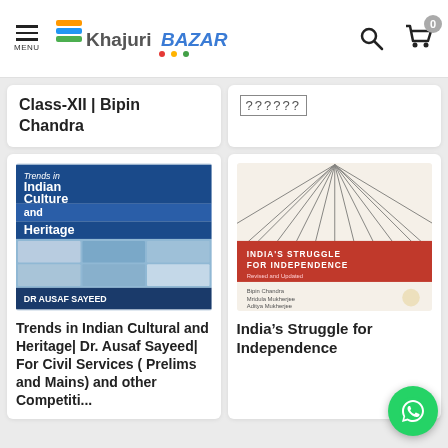[Figure (screenshot): Khajuri Bazar website header with hamburger menu, logo, search icon, and cart with 0 items]
Class-XII | Bipin Chandra
??????
[Figure (photo): Book cover: Trends in Indian Culture and Heritage by Dr. Ausaf Sayeed]
Trends in Indian Cultural and Heritage| Dr. Ausaf Sayeed| For Civil Services ( Prelims and Mains) and other Competitions
[Figure (photo): Book cover: India's Struggle for Independence]
India’s Struggle for Independence